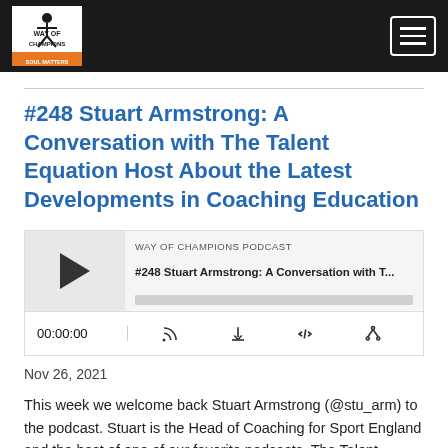Way of Champions Podcast – Navigation bar with logo and hamburger menu
#248 Stuart Armstrong: A Conversation with The Talent Equation Host About the Latest Developments in Coaching Education
[Figure (screenshot): Podcast player widget showing 'WAY OF CHAMPIONS PODCAST' label, episode title '#248 Stuart Armstrong: A Conversation with T...', play button, progress bar, timestamp 00:00:00, and control icons for RSS, download, embed, and share]
Nov 26, 2021
This week we welcome back Stuart Armstrong (@stu_arm) to the podcast. Stuart is the Head of Coaching for Sport England and the host of one of our favorite podcasts, The Talent Equation., He spends his days helping to elevate the coaching profession, develop educational pathways for grassroots